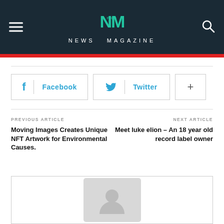NEWS MAGAZINE
[Figure (other): Social share buttons: Facebook, Twitter, and plus]
PREVIOUS ARTICLE
Moving Images Creates Unique NFT Artwork for Environmental Causes.
NEXT ARTICLE
Meet luke elion – An 18 year old record label owner
[Figure (other): Article card placeholder with silhouette image]